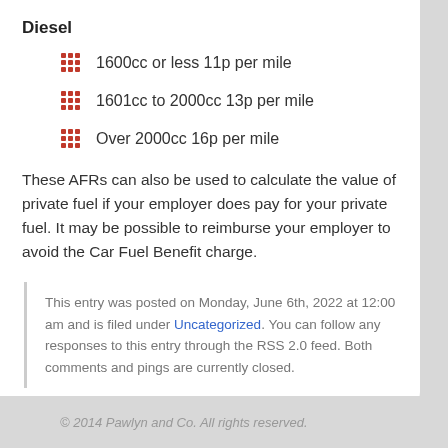Diesel
1600cc or less 11p per mile
1601cc to 2000cc 13p per mile
Over 2000cc 16p per mile
These AFRs can also be used to calculate the value of private fuel if your employer does pay for your private fuel. It may be possible to reimburse your employer to avoid the Car Fuel Benefit charge.
This entry was posted on Monday, June 6th, 2022 at 12:00 am and is filed under Uncategorized. You can follow any responses to this entry through the RSS 2.0 feed. Both comments and pings are currently closed.
© 2014 Pawlyn and Co. All rights reserved.